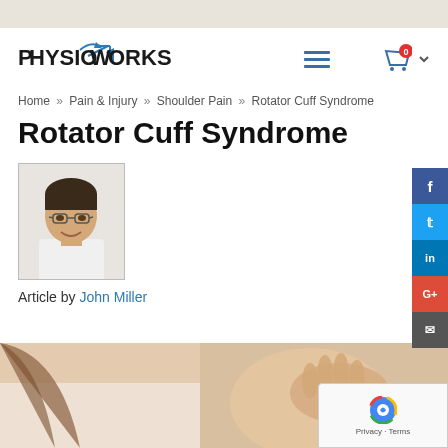[Figure (logo): PhysioWorks logo with stylized arrow graphic between 'Physio' and 'Works']
Home » Pain & Injury » Shoulder Pain » Rotator Cuff Syndrome
Rotator Cuff Syndrome
[Figure (photo): Portrait photo of a man with glasses wearing a white shirt, smiling]
Article by John Miller
[Figure (photo): Photo of a woman in a white top touching her shoulder, indicating shoulder pain area]